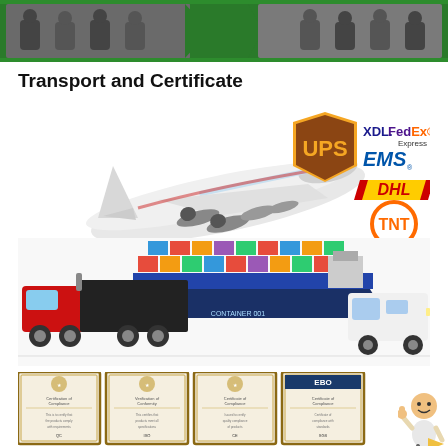[Figure (photo): Green banner at top with photos of people at what appears to be a trade show or exhibition event, with a green chevron/arrow design.]
Transport and Certificate
[Figure (infographic): Transport and shipping infographic showing an airplane with courier logos (UPS, XDL, FedEx Express, EMS, DHL, TNT) on the top half, and ground/sea transport images (red truck, container ship, white van) on the bottom half.]
[Figure (photo): Row of four framed certificates of compliance/conformity with decorative borders, accompanied by a cartoon figure of a person giving thumbs up.]